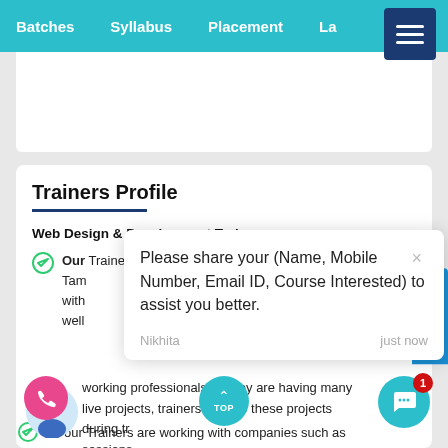Batches  Syllabus  Placement  La...
Trainers Profile
Web Design & Development Trainers are
[Figure (screenshot): Chat popup overlay with message: Please share your (Name, Mobile Number, Email ID, Course Interested) to assist you better. Sender: Nikhita, just now]
Our Trainers are Working Professionals... working professionals so they are having many live projects, trainers will use these projects during training sessions.
All our Trainers are working with companies such as